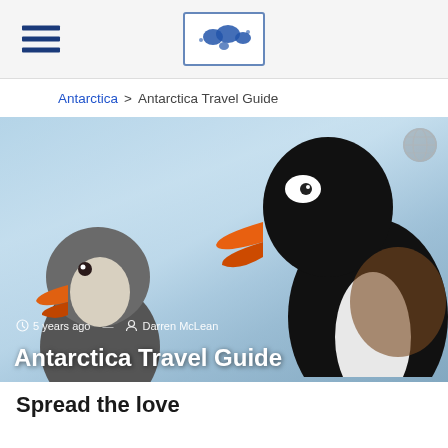[Figure (logo): Navigation bar with hamburger menu icon and world map logo in bordered box]
Antarctica > Antarctica Travel Guide
[Figure (photo): Hero image of two penguins (adult and chick) facing each other against a blue sky background, with overlay text showing '5 years ago', 'Darren McLean', and title 'Antarctica Travel Guide'. A small globe watermark is in the top right corner.]
Spread the love